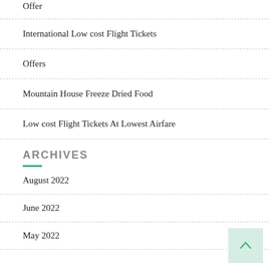Offer
International Low cost Flight Tickets
Offers
Mountain House Freeze Dried Food
Low cost Flight Tickets At Lowest Airfare
ARCHIVES
August 2022
June 2022
May 2022